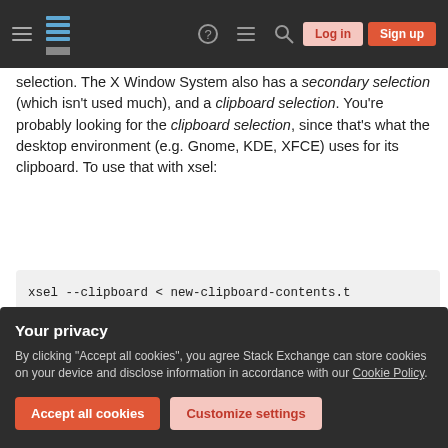Stack Exchange navigation bar with hamburger menu, logo, help, chat, search icons, Log in and Sign up buttons
selection. The X Window System also has a secondary selection (which isn't used much), and a clipboard selection. You're probably looking for the clipboard selection, since that's what the desktop environment (e.g. Gnome, KDE, XFCE) uses for its clipboard. To use that with xsel:
xsel --clipboard < new-clipboard-contents.t
xsel --clipboard > current-clipboard-conten
Share
Your privacy
By clicking "Accept all cookies", you agree Stack Exchange can store cookies on your device and disclose information in accordance with our Cookie Policy.
Accept all cookies
Customize settings